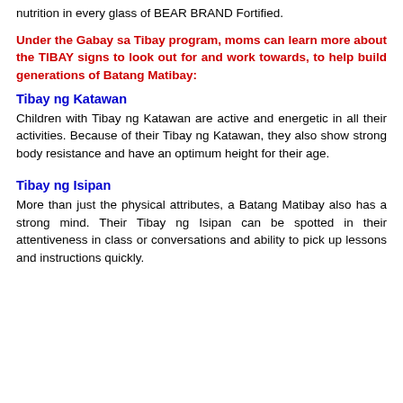nutrition in every glass of BEAR BRAND Fortified.
Under the Gabay sa Tibay program, moms can learn more about the TIBAY signs to look out for and work towards, to help build generations of Batang Matibay:
Tibay ng Katawan
Children with Tibay ng Katawan are active and energetic in all their activities. Because of their Tibay ng Katawan, they also show strong body resistance and have an optimum height for their age.
Tibay ng Isipan
More than just the physical attributes, a Batang Matibay also has a strong mind. Their Tibay ng Isipan can be spotted in their attentiveness in class or conversations and ability to pick up lessons and instructions quickly.